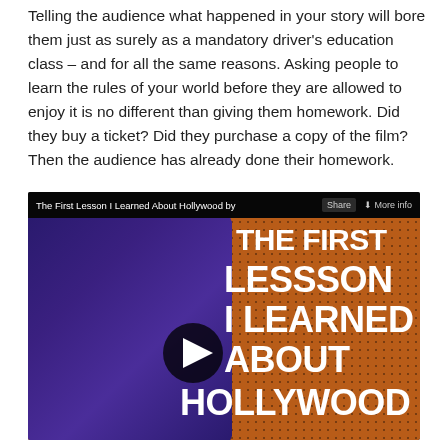Telling the audience what happened in your story will bore them just as surely as a mandatory driver's education class – and for all the same reasons.  Asking people to learn the rules of your world before they are allowed to enjoy it is no different than giving them homework.  Did they buy a ticket?  Did they purchase a copy of the film?  Then the audience has already done their homework.
[Figure (screenshot): Embedded video thumbnail titled 'The First Lesson I Learned About Hollywood' showing a man in a purple shirt with text overlay reading 'THE FIRST LESSSON I LEARNED ABOUT HOLLYWOOD' and a play button in the center. The background has an orange pegboard pattern.]